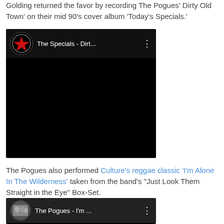Golding returned the favor by recording The Pogues' Dirty Old Town' on their mid 90's cover album 'Today's Specials.'
[Figure (screenshot): YouTube video thumbnail for 'The Specials - Dirt...' with black background and The Specials logo (red star in circle)]
The Pogues also performed Culture's reggae classic 'I'm Alone In The Wilderness' taken from the band's "Just Look Them Straight in the Eye" Box-Set.
[Figure (screenshot): YouTube video thumbnail for 'The Pogues - I'm ...' showing black and white photo of band members]